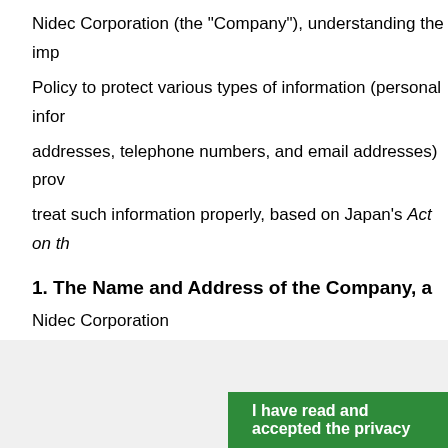Nidec Corporation (the “Company”), understanding the imp
Policy to protect various types of information (personal infor
addresses, telephone numbers, and email addresses) prov
treat such information properly, based on Japan’s Act on th
1. The Name and Address of the Company, a
Nidec Corporation
For the address of the Company and its representative’s na
I have read and accepted the privacy